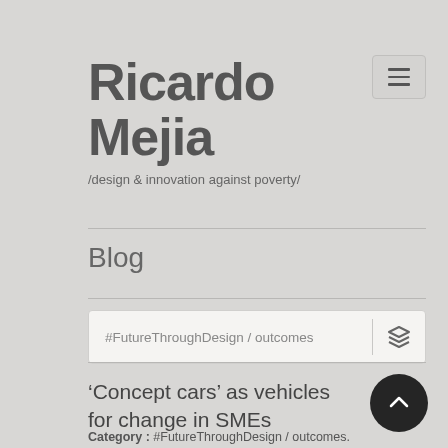Ricardo Mejia
/design & innovation against poverty/
Blog
#FutureThroughDesign / outcomes
‘Concept cars’ as vehicles for change in SMEs
Category : #FutureThroughDesign / outcomes.